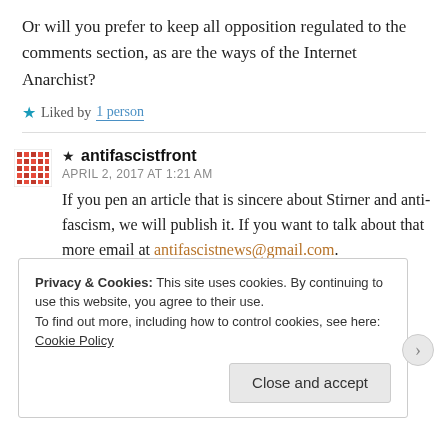Or will you prefer to keep all opposition regulated to the comments section, as are the ways of the Internet Anarchist?
★ Liked by 1 person
★ antifascistfront
APRIL 2, 2017 AT 1:21 AM
If you pen an article that is sincere about Stirner and anti-fascism, we will publish it. If you want to talk about that more email at antifascistnews@gmail.com.
Privacy & Cookies: This site uses cookies. By continuing to use this website, you agree to their use.
To find out more, including how to control cookies, see here: Cookie Policy
Close and accept